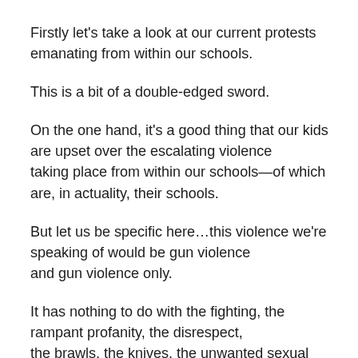Firstly let's take a look at our current protests emanating from within our schools.
This is a bit of a double-edged sword.
On the one hand, it's a good thing that our kids are upset over the escalating violence taking place from within our schools—of which are, in actuality, their schools.
But let us be specific here…this violence we're speaking of would be gun violence and gun violence only.
It has nothing to do with the fighting, the rampant profanity, the disrespect, the brawls, the knives, the unwanted sexual advances, the